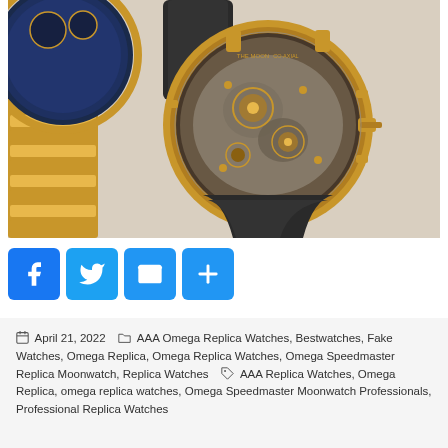[Figure (photo): Two luxury watches on a beige surface. Left: gold chronograph with blue dial and gold bracelet. Right: gold Omega Speedmaster Co-Axial Moonwatch showing exposed skeleton movement through caseback, with dark rubber strap.]
[Figure (infographic): Social share buttons: Facebook (blue, f icon), Twitter (blue, bird icon), Email (blue, envelope icon), Share/Add (blue, plus icon)]
April 21, 2022   AAA Omega Replica Watches, Bestwatches, Fake Watches, Omega Replica, Omega Replica Watches, Omega Speedmaster Replica Moonwatch, Replica Watches   AAA Replica Watches, Omega Replica, omega replica watches, Omega Speedmaster Moonwatch Professionals, Professional Replica Watches